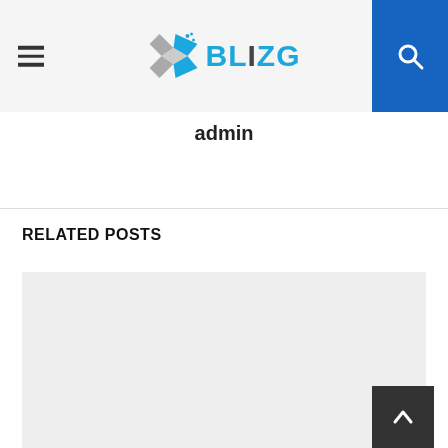BLIZG — site header with hamburger menu and search button
admin
RELATED POSTS
[Figure (other): Light grey placeholder image box for related posts content]
[Figure (other): Dark grey back-to-top arrow button in bottom right corner]